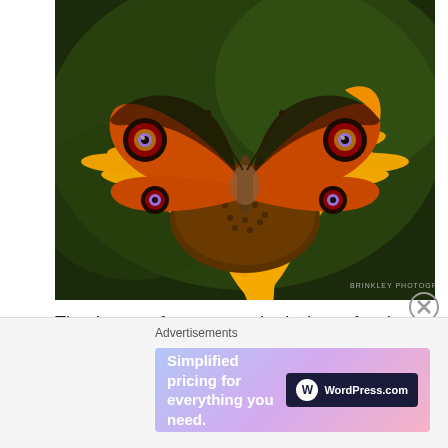[Figure (photo): Close-up photograph of a peacock butterfly (Aglais io) with orange and black patterned wings resting on a yellow sunflower, against a dark green blurred background. Watermark reads 'BRINKLEY PHOTOGRAPHY' in lower right corner.]
Thank you for your submissions for last week's challenge called – Water.   We had some beautiful images.  please check out last week's entries which are listed below. So the challenge this week is –
Advertisements
[Figure (screenshot): WordPress.com advertisement banner with gradient pink/purple/blue background. Text reads 'Simplified pricing for everything you need.' with WordPress.com logo on the right.]